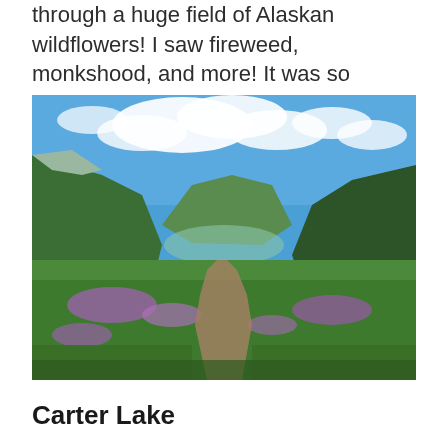through a huge field of Alaskan wildflowers! I saw fireweed, monkshood, and more! It was so beautiful.
[Figure (photo): A scenic Alaskan valley photograph showing a narrow dirt trail winding through a lush green field filled with purple wildflowers (fireweed). Tall green mountains rise on both sides, with a bright blue sky dotted with white clouds above. A small lake is visible on the left edge near the mountains.]
Carter Lake